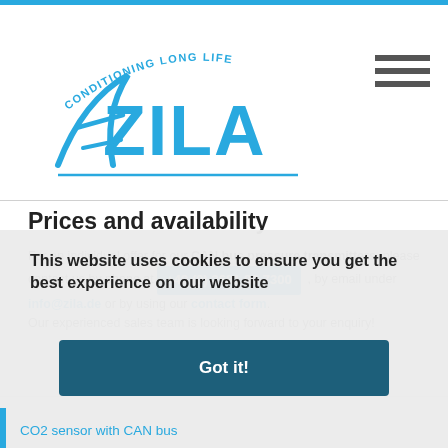[Figure (logo): ZILA logo with 'CONDITIONING LONG LIFE' tagline in blue]
Prices and availability
For an individual offer for our CAN bus pressure transmitters, please contact us by phone at +49 (0) 3681 86-7300 , by email under info@zila.de or by using our contact form. Our experienced sales team is looking forward to your enquiry!
This website uses cookies to ensure you get the best experience on our website
Got it!
CO2 sensor with CAN bus